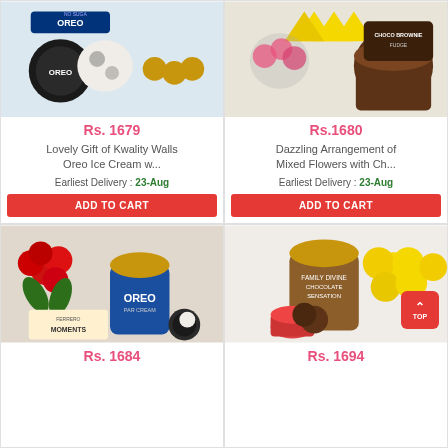[Figure (photo): Oreo ice cream product with Ferrero Rocher chocolates on light blue background]
Rs. 1679
Lovely Gift of Kwality Walls Oreo Ice Cream w...
Earliest Delivery : 23-Aug
ADD TO CART
[Figure (photo): Mixed flowers arrangement with yellow ribbons and chocolate brownie fudge tub]
Rs.1680
Dazzling Arrangement of Mixed Flowers with Ch...
Earliest Delivery : 23-Aug
ADD TO CART
[Figure (photo): Red roses bouquet with Oreo ice cream tub and Ferrero Rocher Moments box]
Rs. 1684
[Figure (photo): Yellow flowers with chocolate ice cream tub and small cup on white background]
Rs. 1694